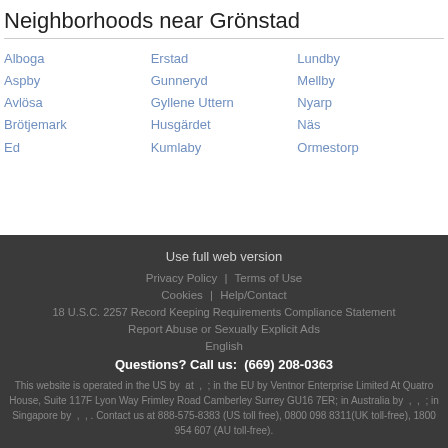Neighborhoods near Grönstad
Alboga
Aspby
Avlösa
Brötjemark
Ed
Erstad
Gunneryd
Gyllene Uttern
Husgärdet
Kumlaby
Lundby
Mellby
Nyarp
Näs
Ormestorp
Use full web version | Privacy Policy | Terms of Use | Cookies | Help/Contact | 18 U.S.C. 2257 Record Keeping Requirements Compliance Statement | Report Abuse or Sexually Explicit Ads | English | Questions? Call us: (669) 208-0363 | This website is operated in the US by at , ; in the EU by Ventnor Enterprise Limited At Quatro House, Suite 117F Lyon Way Frimley Road Camberley Surrey GU16 7ER; in Australia by , , ; in Singapore by , , . Contact us at 888-575-8383 (US toll free), 0800 098 8311(UK toll-free), 1800 954 607 (AU toll-free).